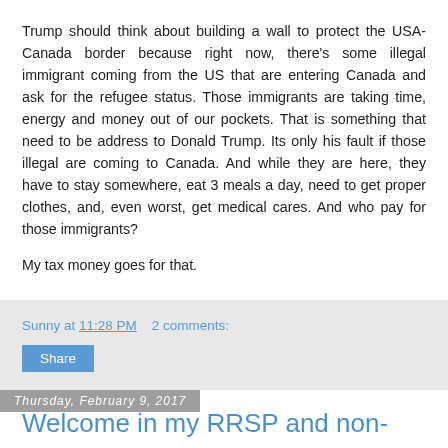Trump should think about building a wall to protect the USA-Canada border because right now, there's some illegal immigrant coming from the US that are entering Canada and ask for the refugee status. Those immigrants are taking time, energy and money out of our pockets. That is something that need to be address to Donald Trump. Its only his fault if those illegal are coming to Canada. And while they are here, they have to stay somewhere, eat 3 meals a day, need to get proper clothes, and, even worst, get medical cares. And who pay for those immigrants?

My tax money goes for that.
Sunny at 11:28 PM   2 comments:
Share
Thursday, February 9, 2017
Welcome in my RRSP and non-